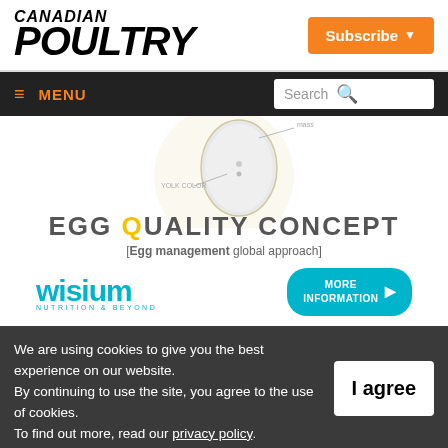CANADIAN POULTRY
[Figure (screenshot): Subscribe button with orange background and dropdown arrow]
[Figure (screenshot): Navigation bar with hamburger menu icon, MENU label in orange, and search box]
[Figure (illustration): Wisium Egg Quality Concept advertisement showing a white egg diagram with 'EGG QUALITY CONCEPT [Egg management global approach]' text, Wisium logo and MORE INFORMATION button]
We are using cookies to give you the best experience on our website. By continuing to use the site, you agree to the use of cookies. To find out more, read our privacy policy.